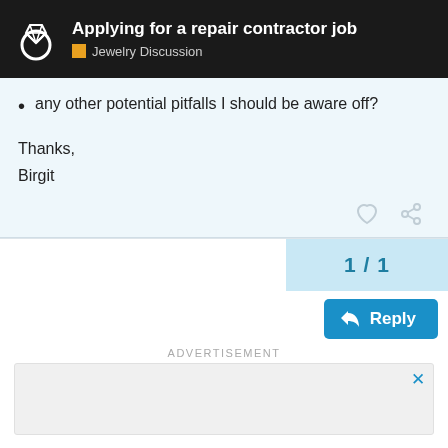Applying for a repair contractor job — Jewelry Discussion
any other potential pitfalls I should be aware off?
Thanks,
Birgit
1 / 1
Reply
ADVERTISEMENT
Suggested Topics